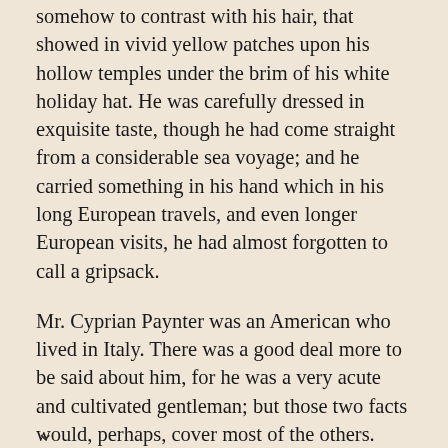somehow to contrast with his hair, that showed in vivid yellow patches upon his hollow temples under the brim of his white holiday hat. He was carefully dressed in exquisite taste, though he had come straight from a considerable sea voyage; and he carried something in his hand which in his long European travels, and even longer European visits, he had almost forgotten to call a gripsack.
Mr. Cyprian Paynter was an American who lived in Italy. There was a good deal more to be said about him, for he was a very acute and cultivated gentleman; but those two facts would, perhaps, cover most of the others. Storing his mind like a museum with the wonder of the Old World, but all lit up as by a window with the wonder of the New, he had fallen heir to some thing of the unique critical position of Ruskin or Pater, and was further famous as a discoverer of minor poets. He was a judicious discoverer, and he did not turn all his minor poets into major prophets. If his geese were swans, they were not all Swans of Avon. He had even incurred the deadly suspicion of classicism iffering from his young friends, the Punctuist Poets